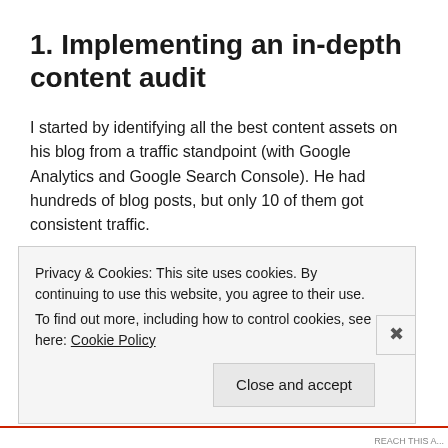1. Implementing an in-depth content audit
I started by identifying all the best content assets on his blog from a traffic standpoint (with Google Analytics and Google Search Console). He had hundreds of blog posts, but only 10 of them got consistent traffic.
So I unpublished 90% of the content on his blog.
What did I do with it? I put each post in one of two boxes
Privacy & Cookies: This site uses cookies. By continuing to use this website, you agree to their use.
To find out more, including how to control cookies, see here: Cookie Policy